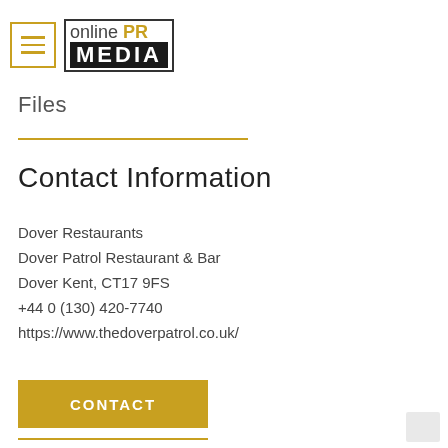[Figure (logo): Online PR Media logo with hamburger menu icon on the left. The logo has 'online PR' text on top and 'MEDIA' on black background below, bordered.]
Files
Contact Information
Dover Restaurants
Dover Patrol Restaurant & Bar
Dover Kent, CT17 9FS
+44 0 (130) 420-7740
https://www.thedoverpatrol.co.uk/
CONTACT